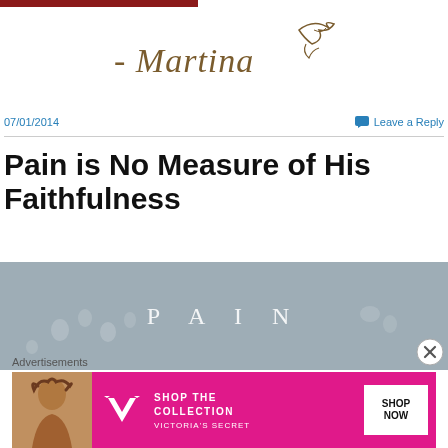[Figure (illustration): Dark red/maroon horizontal bar at top left]
[Figure (illustration): Cursive signature reading '- Martina' with a small dove illustration in brown/gold ink]
07/01/2014
Leave a Reply
Pain is No Measure of His Faithfulness
[Figure (photo): Grey/blue background image with the word PAIN in white spaced letters and small circular shapes scattered around, resembling footsteps or bubbles]
Advertisements
[Figure (photo): Victoria's Secret advertisement banner showing a woman with curly hair, VS logo, text 'SHOP THE COLLECTION' and 'SHOP NOW' button]